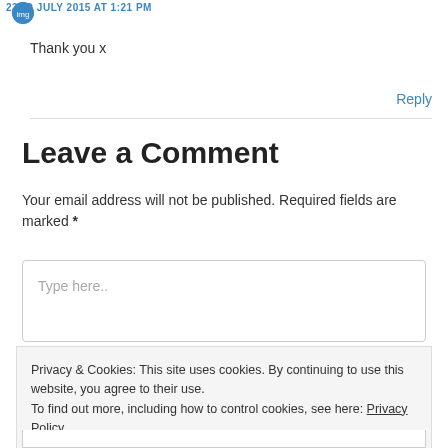23RD JULY 2015 AT 1:21 PM
Thank you x
Reply
Leave a Comment
Your email address will not be published. Required fields are marked *
Type here..
Privacy & Cookies: This site uses cookies. By continuing to use this website, you agree to their use.
To find out more, including how to control cookies, see here: Privacy Policy
Close and accept